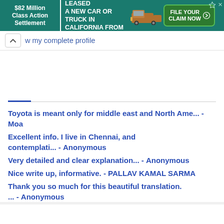[Figure (screenshot): Advertisement banner: $82 Million Class Action Settlement - IF YOU BOUGHT OR LEASED A NEW CAR OR TRUCK IN CALIFORNIA FROM 2001 - 2003 - FILE YOUR CLAIM NOW]
w my complete profile
Toyota is meant only for middle east and North Ame... - Moa
Excellent info. I live in Chennai, and contemplati... - Anonymous
Very detailed and clear explanation... - Anonymous
Nice write up, informative. - PALLAV KAMAL SARMA
Thank you so much for this beautiful translation. ... - Anonymous